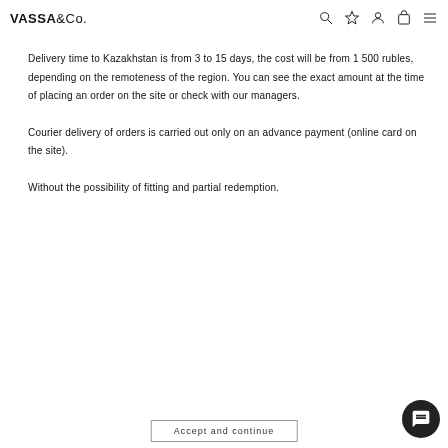VASSA&Co. [navigation icons]
SHIPPING – KAZAKHSTAN
Delivery time to Kazakhstan is from 3 to 15 days, the cost will be from 1 500 rubles, depending on the remoteness of the region. You can see the exact amount at the time of placing an order on the site or check with our managers.
Courier delivery of orders is carried out only on an advance payment (online card on the site).
Without the possibility of fitting and partial redemption.
Accept and continue